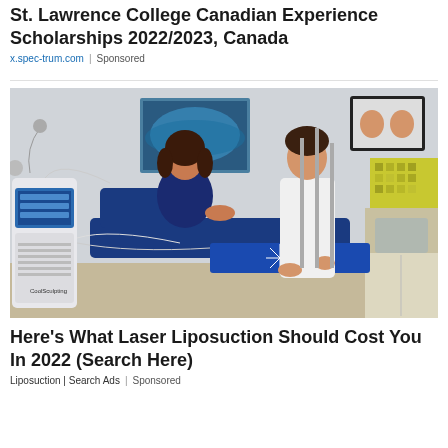St. Lawrence College Canadian Experience Scholarships 2022/2023, Canada
x.spec-trum.com | Sponsored
[Figure (photo): Medical/cosmetic clinic setting showing a patient lying on a treatment chair while a doctor in a white coat stands beside them operating a CoolSculpting machine. Blue draping covers the patient's legs. Medical equipment and cabinets are visible in the background.]
Here's What Laser Liposuction Should Cost You In 2022 (Search Here)
Liposuction | Search Ads | Sponsored